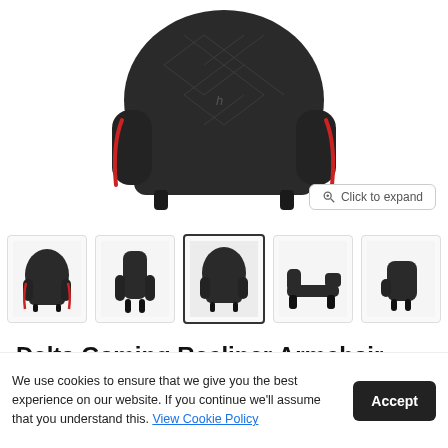[Figure (photo): Main product image of a black gaming recliner armchair with red trim accents and diamond-pattern stitching, viewed from front-side angle on white background]
[Figure (photo): Thumbnail row showing 4 views of the Delta Gaming Recliner Armchair: angled front view, front view, front-selected active view, reclined side view, and partial side view. Navigation arrows on left and right.]
Delta Gaming Recliner Armchair
We use cookies to ensure that we give you the best experience on our website. If you continue we'll assume that you understand this. View Cookie Policy